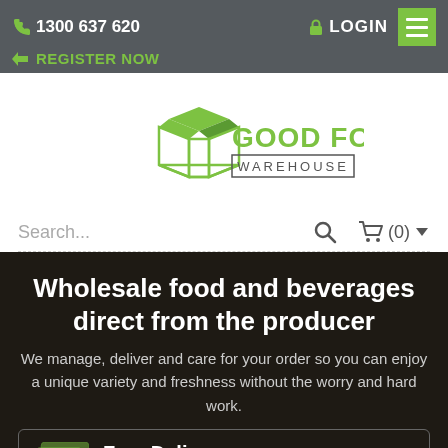1300 637 620  LOGIN  REGISTER NOW
[Figure (logo): Good Food Warehouse logo — green open box icon with 'GOOD FOOD WAREHOUSE' text]
Search...  (0)
Wholesale food and beverages direct from the producer
We manage, deliver and care for your order so you can enjoy a unique variety and freshness without the worry and hard work.
Free Delivery